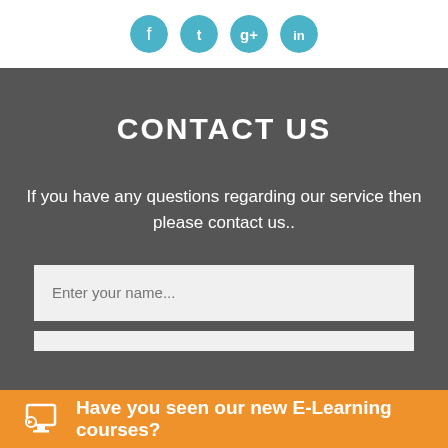[Figure (logo): Social media icons: Twitter, Google+, LinkedIn on white background]
CONTACT US
If you have any questions regarding our service then please contact us..
[Figure (screenshot): Text input field with placeholder 'Enter your name...']
Have you seen our new E-Learning courses?